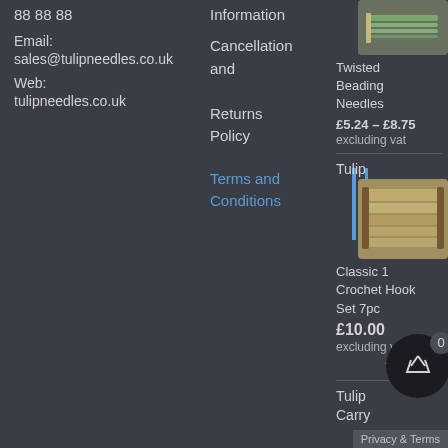88 88 88
Email:
sales@tulipneedles.co.uk
Web:
tulipneedles.co.uk
Information
Cancellation and Returns Policy
Terms and Conditions
[Figure (photo): Twisted Beading Needles product image]
Twisted Beading Needles
£5.24 – £8.75
excluding vat
[Figure (photo): Tulip Classic 1 Crochet Hook Set 7pc product image]
Tulip
Classic 1 Crochet Hook Set 7pc
£10.00
excluding vat
Tulip
Carry
0
Privacy & Terms